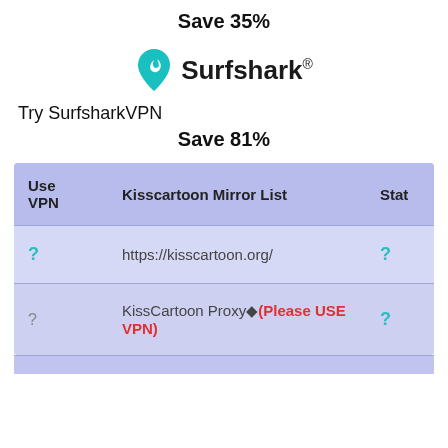Save 35%
[Figure (logo): Surfshark logo with teal shield icon and brand name with registered trademark symbol]
Try SurfsharkVPN
Save 81%
| Use VPN | Kisscartoon Mirror List | Stat |
| --- | --- | --- |
| ? | https://kisscartoon.org/ | ? |
| ? | KissCartoon Proxy◆(Please USE VPN) | ? |